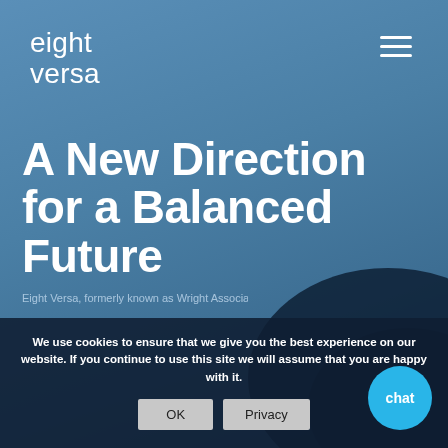[Figure (screenshot): Eight Versa website screenshot showing blue background with dark blob shape in bottom right corner]
eight versa
A New Direction for a Balanced Future
Eight Versa, formerly known as Wright Associates
We use cookies to ensure that we give you the best experience on our website. If you continue to use this site we will assume that you are happy with it.
OK
Privacy
chat